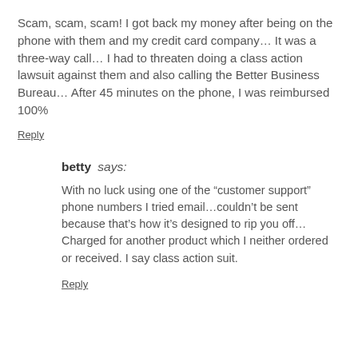Scam, scam, scam! I got back my money after being on the phone with them and my credit card company… It was a three-way call… I had to threaten doing a class action lawsuit against them and also calling the Better Business Bureau… After 45 minutes on the phone, I was reimbursed 100%
Reply
betty says:
With no luck using one of the “customer support” phone numbers I tried email…couldn’t be sent because that’s how it’s designed to rip you off… Charged for another product which I neither ordered or received. I say class action suit.
Reply